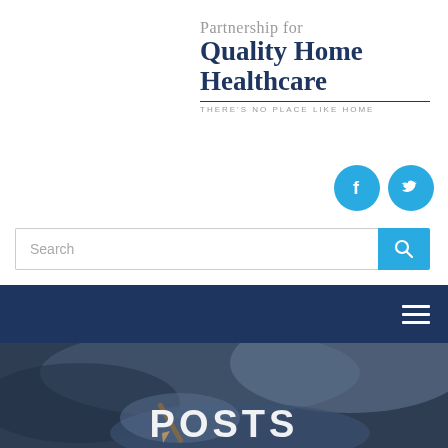[Figure (logo): Partnership for Quality Home Healthcare logo with tagline THERE'S NO PLACE LIKE HOME]
[Figure (illustration): Facebook and Twitter social media icon buttons in teal/cyan circles]
[Figure (screenshot): Search bar with Search placeholder text and teal search button with magnifying glass icon]
[Figure (screenshot): Dark navy navigation bar with hamburger menu icon on the right]
[Figure (photo): Blurred photo of a person's hand writing with a pen on paper, with POSTS text overlay at the bottom]